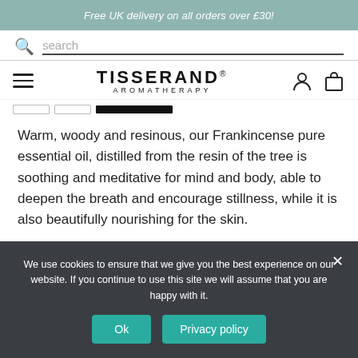Free UK delivery on all orders over £30!
search
[Figure (logo): Tisserand Aromatherapy logo with hamburger menu, user icon, and bag icon]
Warm, woody and resinous, our Frankincense pure essential oil, distilled from the resin of the tree is soothing and meditative for mind and body, able to deepen the breath and encourage stillness, while it is also beautifully nourishing for the skin.
We use cookies to ensure that we give you the best experience on our website. If you continue to use this site we will assume that you are happy with it.